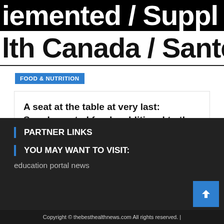iemented / Supp
lth Canada / Santé C
FOOD & NUTRITION
A seat at the table at very last: Supplemented foods additional to the Food and Medications Restrictions
August 16, 2022  Sereda
PARTNER LINKS
YOU MAY WANT TO VISIT:
education portal news
Copyright © thebesthealthnews.com All rights reserved. |